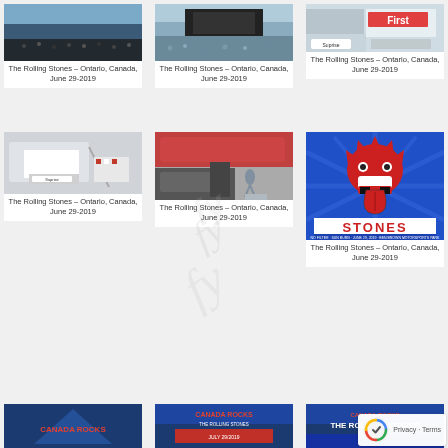[Figure (photo): Crowd at Rolling Stones concert, outdoor venue]
The Rolling Stones – Ontario, Canada, June 29-2019
[Figure (photo): Outdoor concert stage with crowd, Rolling Stones show]
The Rolling Stones – Ontario, Canada, June 29-2019
[Figure (photo): Airplane with First Air branding and Suprise logo]
The Rolling Stones – Ontario, Canada, June 29-2019
[Figure (photo): Airplane stairs with Suprise branding, person boarding]
The Rolling Stones – Ontario, Canada, June 29-2019
[Figure (photo): Person walking near red airplane and black SUV]
The Rolling Stones – Ontario, Canada, June 29-2019
[Figure (illustration): Rolling Stones No Filter tour poster with tongue logo and STONES text, blue background]
The Rolling Stones – Ontario, Canada, June 29-2019
[Figure (photo): Partial view of Canada Rocks Rolling Stones poster, bottom row]
[Figure (photo): Partial view of Canada Rocks Rolling Stones concert poster, bottom row]
[Figure (photo): Partial view of The Rolling Stones concert poster, bottom row]